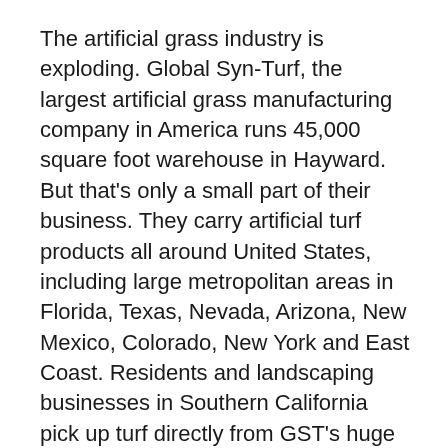The artificial grass industry is exploding. Global Syn-Turf, the largest artificial grass manufacturing company in America runs 45,000 square foot warehouse in Hayward. But that's only a small part of their business. They carry artificial turf products all around United States, including large metropolitan areas in Florida, Texas, Nevada, Arizona, New Mexico, Colorado, New York and East Coast. Residents and landscaping businesses in Southern California pick up turf directly from GST's huge Los Angeles and San Diego warehouses. With increasing popularity of artificial turf in United States, most manufacturers run out of products quickly, but not Global Syn-Turf.
Dave Maronic, a company vice-president, told KTVU the business is booming. "We've doubled, tripled every month," he said. "Different engineered